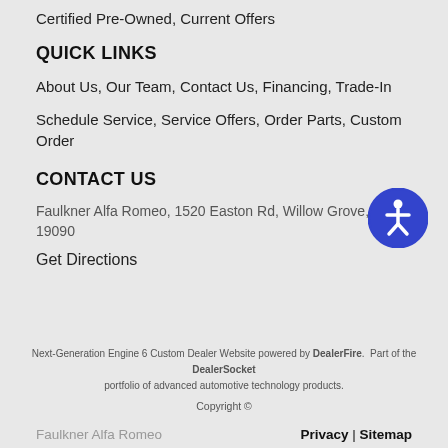Certified Pre-Owned, Current Offers
QUICK LINKS
About Us, Our Team, Contact Us, Financing, Trade-In
Schedule Service, Service Offers, Order Parts, Custom Order
CONTACT US
Faulkner Alfa Romeo, 1520 Easton Rd, Willow Grove, PA, 19090
Get Directions
Next-Generation Engine 6 Custom Dealer Website powered by DealerFire. Part of the DealerSocket portfolio of advanced automotive technology products.
Copyright ©
Faulkner Alfa Romeo  Privacy | Sitemap